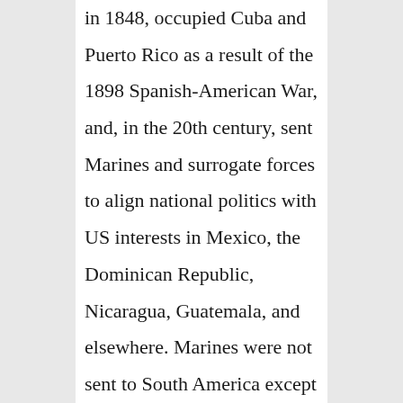in 1848, occupied Cuba and Puerto Rico as a result of the 1898 Spanish-American War, and, in the 20th century, sent Marines and surrogate forces to align national politics with US interests in Mexico, the Dominican Republic, Nicaragua, Guatemala, and elsewhere. Marines were not sent to South America except to populate military bases and to guard